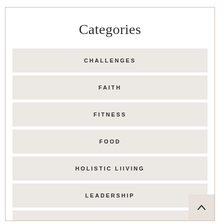Categories
CHALLENGES
FAITH
FITNESS
FOOD
HOLISTIC LIIVING
LEADERSHIP
MINDSET